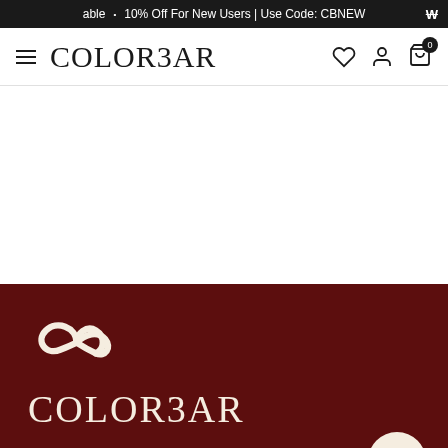able · 10% Off For New Users | Use Code: CBNEW
[Figure (logo): Colorbar logo text with hamburger menu icon in navbar]
[Figure (screenshot): White empty content area below navbar]
[Figure (logo): Colorbar logo (CB symbol and COLORBAR wordmark) on dark maroon background]
Never miss a deal!